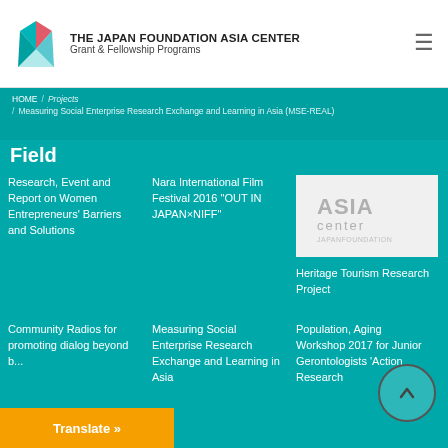THE JAPAN FOUNDATION ASIA CENTER Grant & Fellowship Programs
HOME / Projects / Measuring Social Enterprise Research Exchange and Learning in Asia (MSE-REAL)
Field
Research, Event and Report on Women Entrepreneurs' Barriers and Solutions
Nara International Film Festival 2016 "OUT IN JAPAN×NIFF"
[Figure (logo): ASIA center Japan Foundation logo on light gray background]
Heritage Tourism Research Project
Community Radios for promoting dialog beyond borders of
Measuring Social Enterprise Research Exchange and Learning in Asia
Population, Aging Workshop 2017 for Junior Gerontologists 'Action Research
Translate »